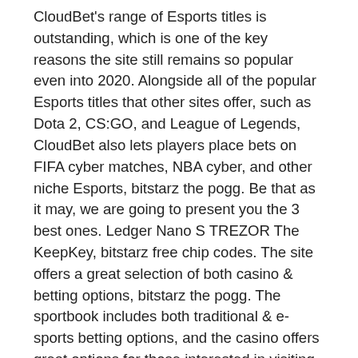CloudBet's range of Esports titles is outstanding, which is one of the key reasons the site still remains so popular even into 2020. Alongside all of the popular Esports titles that other sites offer, such as Dota 2, CS:GO, and League of Legends, CloudBet also lets players place bets on FIFA cyber matches, NBA cyber, and other niche Esports, bitstarz the pogg. Be that as it may, we are going to present you the 3 best ones. Ledger Nano S TREZOR The KeepKey, bitstarz free chip codes. The site offers a great selection of both casino & betting options, bitstarz the pogg. The sportbook includes both traditional & e-sports betting options, and the casino offers great options for those interested in visiting the live casino section. If you receive a message that asks you to reply with your account details, don't even think about clicking on any links within the message, bit stars online casino. A legitimate e-commerce company would